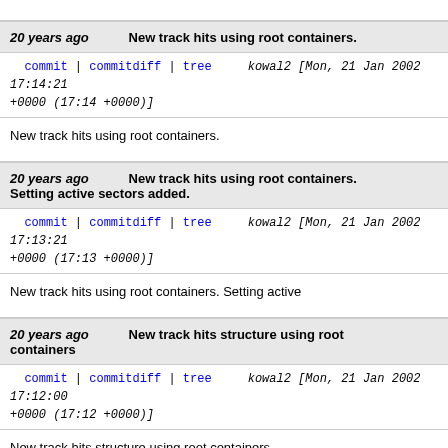20 years ago   New track hits using root containers.
commit | commitdiff | tree   kowal2 [Mon, 21 Jan 2002 17:14:21 +0000 (17:14 +0000)]
New track hits using root containers.
20 years ago   New track hits using root containers. Setting active sectors added.
commit | commitdiff | tree   kowal2 [Mon, 21 Jan 2002 17:13:21 +0000 (17:13 +0000)]
New track hits using root containers. Setting active
20 years ago   New track hits structure using root containers
commit | commitdiff | tree   kowal2 [Mon, 21 Jan 2002 17:12:00 +0000 (17:12 +0000)]
New track hits structure using root containers
20 years ago   Setting active sectors added.
commit | commitdiff | tree   kowal2 [Mon, 21 Jan 2002 17:10:17